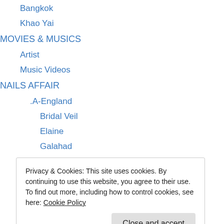Bangkok
Khao Yai
MOVIES & MUSICS
Artist
Music Videos
NAILS AFFAIR
.A-England
Bridal Veil
Elaine
Galahad
King Arthur
Merlin
Morgan Le Fay
Privacy & Cookies: This site uses cookies. By continuing to use this website, you agree to their use.
To find out more, including how to control cookies, see here: Cookie Policy
AT-SNF-06